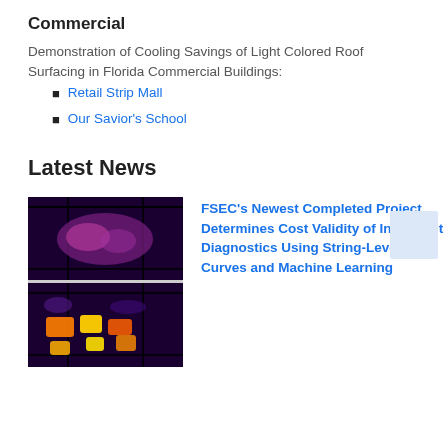Commercial
Demonstration of Cooling Savings of Light Colored Roof Surfacing in Florida Commercial Buildings:
Retail Strip Mall
Our Savior's School
Latest News
[Figure (photo): Thermal infrared images of solar panels, two panels stacked vertically showing heat distribution in purple, orange, and yellow colors]
FSEC's Newest Completed Project Determines Cost Validity of Intelligent Diagnostics Using String-Level I-V Curves and Machine Learning